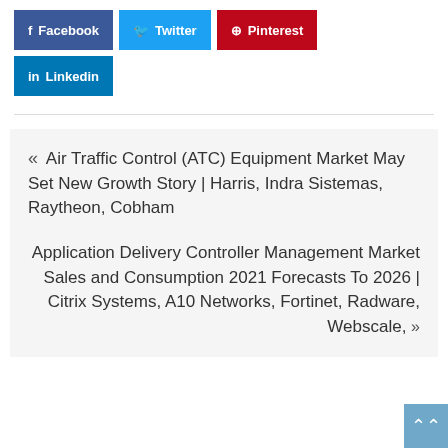[Figure (other): Social sharing buttons row 1: Facebook (dark blue), Twitter (light blue), Pinterest (red)]
[Figure (other): Social sharing button row 2: LinkedIn (blue)]
« Air Traffic Control (ATC) Equipment Market May Set New Growth Story | Harris, Indra Sistemas, Raytheon, Cobham
Application Delivery Controller Management Market Sales and Consumption 2021 Forecasts To 2026 | Citrix Systems, A10 Networks, Fortinet, Radware, Webscale, »